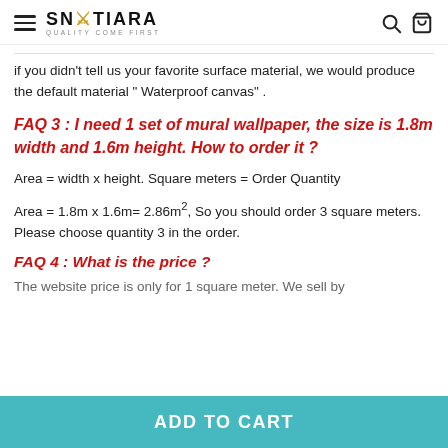SNETIARA — QUALITY COME FIRST
If you didn't tell us your favorite surface material, we would produce the default material " Waterproof canvas" .
FAQ 3 : I need 1 set of mural wallpaper, the size is 1.8m width and 1.6m height. How to order it ?
Area = width x height. Square meters = Order Quantity
Area = 1.8m x 1.6m= 2.86m², So you should order 3 square meters. Please choose quantity 3 in the order.
FAQ 4 : What is the price ?
The website price is only for 1 square meter. We sell by
ADD TO CART